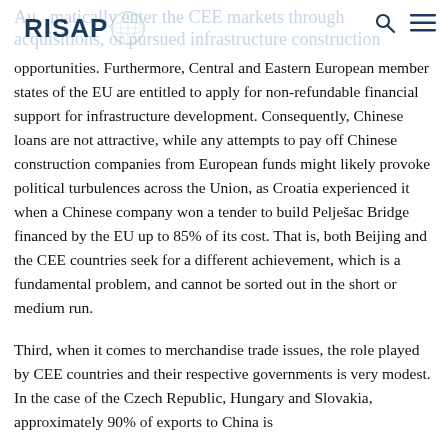RISAP — automatically enter the CEE markets through acquisitions, or pursued infrastructure construction opportunities.
opportunities. Furthermore, Central and Eastern European member states of the EU are entitled to apply for non-refundable financial support for infrastructure development. Consequently, Chinese loans are not attractive, while any attempts to pay off Chinese construction companies from European funds might likely provoke political turbulences across the Union, as Croatia experienced it when a Chinese company won a tender to build Pelješac Bridge financed by the EU up to 85% of its cost. That is, both Beijing and the CEE countries seek for a different achievement, which is a fundamental problem, and cannot be sorted out in the short or medium run.
Third, when it comes to merchandise trade issues, the role played by CEE countries and their respective governments is very modest. In the case of the Czech Republic, Hungary and Slovakia, approximately 90% of exports to China is